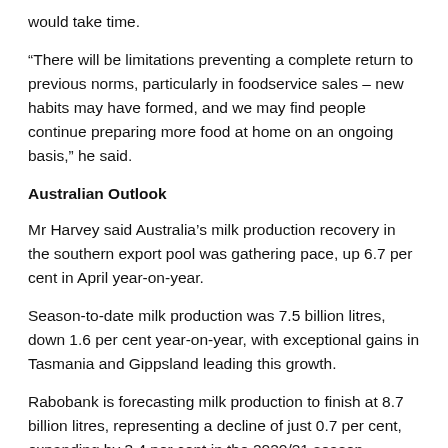would take time.
“There will be limitations preventing a complete return to previous norms, particularly in foodservice sales – new habits may have formed, and we may find people continue preparing more food at home on an ongoing basis,” he said.
Australian Outlook
Mr Harvey said Australia’s milk production recovery in the southern export pool was gathering pace, up 6.7 per cent in April year-on-year.
Season-to-date milk production was 7.5 billion litres, down 1.6 per cent year-on-year, with exceptional gains in Tasmania and Gippsland leading this growth.
Rabobank is forecasting milk production to finish at 8.7 billion litres, representing a decline of just 0.7 per cent, expanding by 3.4 per cent in the 2020/21 season.
“Favourable seasonal conditions will support milk production growth into the 2020/21 season, bringing national production back above nine billion litres and a